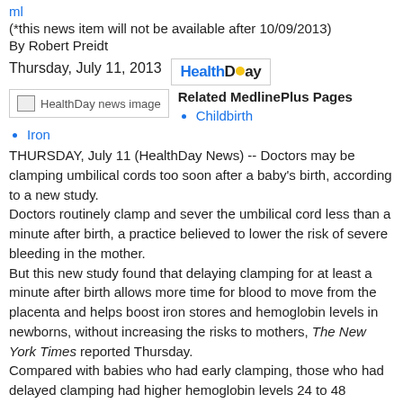ml
(*this news item will not be available after 10/09/2013)
By Robert Preidt
Thursday, July 11, 2013
[Figure (logo): HealthDay logo in blue and black text with yellow sun graphic]
[Figure (photo): HealthDay news image placeholder]
Related MedlinePlus Pages
Childbirth
Iron
THURSDAY, July 11 (HealthDay News) -- Doctors may be clamping umbilical cords too soon after a baby's birth, according to a new study. Doctors routinely clamp and sever the umbilical cord less than a minute after birth, a practice believed to lower the risk of severe bleeding in the mother. But this new study found that delaying clamping for at least a minute after birth allows more time for blood to move from the placenta and helps boost iron stores and hemoglobin levels in newborns, without increasing the risks to mothers, The New York Times reported Thursday. Compared with babies who had early clamping, those who had delayed clamping had higher hemoglobin levels 24 to 48